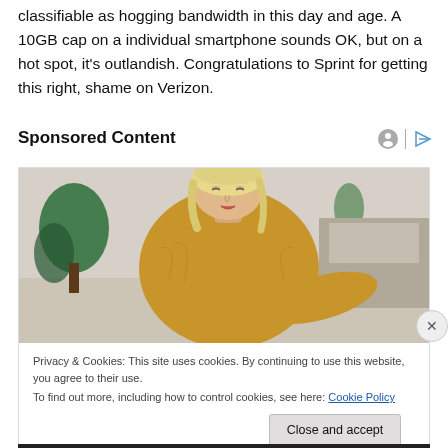classifiable as hogging bandwidth in this day and age. A 10GB cap on a individual smartphone sounds OK, but on a hot spot, it's outlandish. Congratulations to Sprint for getting this right, shame on Verizon.
Sponsored Content
[Figure (photo): Woman with blonde hair wearing a yellow sweater, looking down, in an indoor setting with plants in the background. Sponsored content advertisement image.]
Privacy & Cookies: This site uses cookies. By continuing to use this website, you agree to their use.
To find out more, including how to control cookies, see here: Cookie Policy
Close and accept